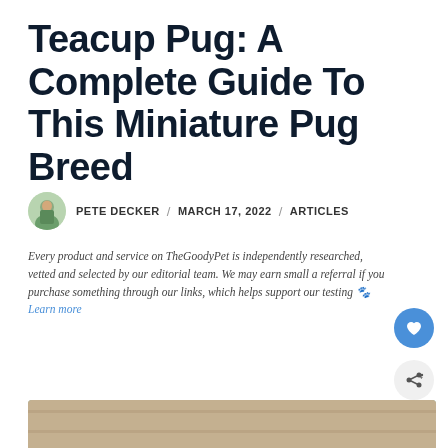Teacup Pug: A Complete Guide To This Miniature Pug Breed
PETE DECKER / MARCH 17, 2022 / ARTICLES
Every product and service on TheGoodyPet is independently researched, vetted and selected by our editorial team. We may earn small a referral if you purchase something through our links, which helps support our testing 🐾 Learn more
[Figure (photo): Photo of a teacup pug dog, partially visible at bottom of page, with blurred background of wood and greenery]